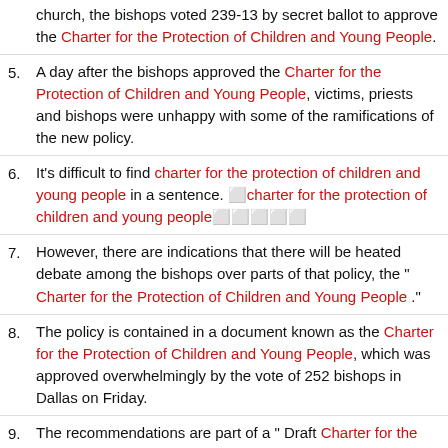church, the bishops voted 239-13 by secret ballot to approve the Charter for the Protection of Children and Young People.
5. A day after the bishops approved the Charter for the Protection of Children and Young People, victims, priests and bishops were unhappy with some of the ramifications of the new policy.
6. It's difficult to find charter for the protection of children and young people in a sentence. •charter for the protection of children and young people♦♦♦♦♦
7. However, there are indications that there will be heated debate among the bishops over parts of that policy, the " Charter for the Protection of Children and Young People ."
8. The policy is contained in a document known as the Charter for the Protection of Children and Young People, which was approved overwhelmingly by the vote of 252 bishops in Dallas on Friday.
9. The recommendations are part of a " Draft Charter for the Protection of Children and Young People" that the bishops will